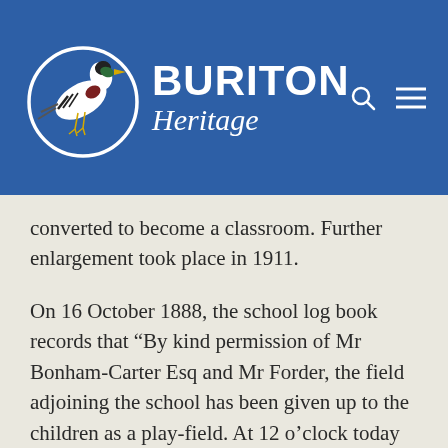BURITON Heritage
converted to become a classroom. Further enlargement took place in 1911.
On 16 October 1888, the school log book records that “By kind permission of Mr Bonham-Carter Esq and Mr Forder, the field adjoining the school has been given up to the children as a play-field. At 12 o’clock today the Rector and the children marched into the field and formally took possession,